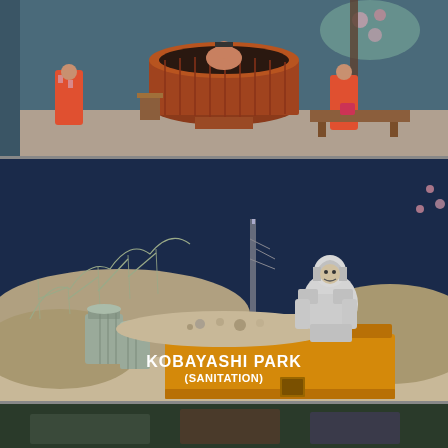[Figure (photo): A theatrical stage set depicting a Japanese bathhouse scene. Performers in colorful floral kimonos stand around a large wooden circular bathtub. The scene is lit with warm lighting against a painted backdrop of Japanese motifs including cherry blossoms.]
[Figure (photo): A detailed miniature scale model diorama showing a post-apocalyptic or desolate scene. A yellow skip/dumpster labeled 'KOBAYASHI PARK SANITATION' is filled with rubble. A white samurai warrior figurine stands in the skip. To the left is a metal trash can. In the background are miniature roller coaster structures and a dark blue sky.]
[Figure (photo): Third image partially visible at the bottom of the page, appears to show another scene from the same exhibition or production.]